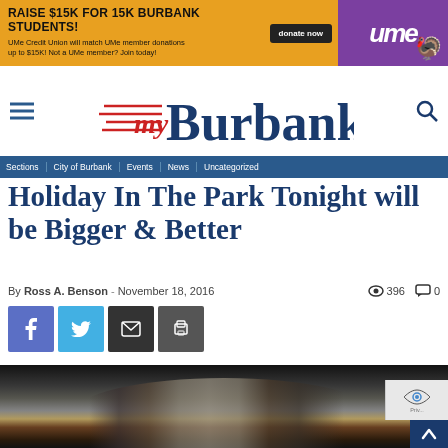[Figure (infographic): UMe Credit Union ad banner: orange and purple background with text 'RAISE $15K FOR 15K BURBANK STUDENTS!' and 'donate now' button and UMe logo with bird mascot]
[Figure (logo): myBurbank news website logo with red lines and blue serif text]
Sections | City of Burbank | Events | News | Uncategorized
Holiday In The Park Tonight will be Bigger & Better
By Ross A. Benson - November 18, 2016  396  0
[Figure (infographic): Social sharing buttons: Facebook (blue), Twitter (light blue), Email (dark), Print (dark gray)]
[Figure (photo): Photo of two people at a holiday event, dark background with decorative elements]